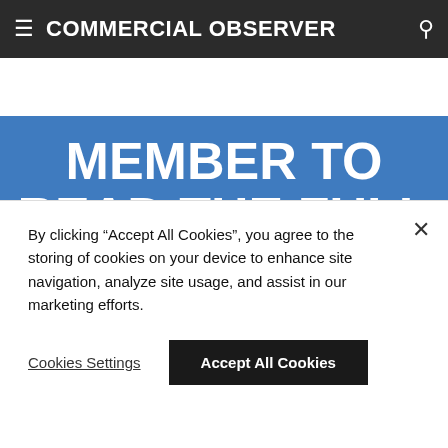COMMERCIAL OBSERVER
MEMBER TO READ THE FULL STORY. TRY IT FREE FOR 2 WEEKS.
INCLUDES UNLIMITED ACCESS TO 10 YEARS WORTH OF NEWS, DEALS AND COMPANY DATA
By clicking "Accept All Cookies", you agree to the storing of cookies on your device to enhance site navigation, analyze site usage, and assist in our marketing efforts.
Cookies Settings  Accept All Cookies